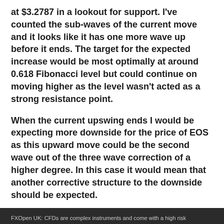at $3.2787 in a lookout for support. I've counted the sub-waves of the current move and it looks like it has one more wave up before it ends. The target for the expected increase would be most optimally at around 0.618 Fibonacci level but could continue on moving higher as the level wasn't acted as a strong resistance point.
When the current upswing ends I would be expecting more downside for the price of EOS as this upward move could be the second wave out of the three wave correction of a higher degree. In this case it would mean that another corrective structure to the downside should be expected.
FXOpen UK: CFDs are complex instruments and come with a high risk of losing money rapidly due to leverage. 60% of retail investor accounts lose money when trading CFDs with this provider. You should consider whether you understand how CFDs work, and whether you can afford to take the high risk of losing your money. FXOpen EU: CFDs are complex instruments and come with a high risk of losing money rapidly due to leverage. 81% of retail investor accounts lose money when trading CFDs with this provider. You should consider whether you understand how CFDs work, and whether you can afford to take the high risk of losing your money.